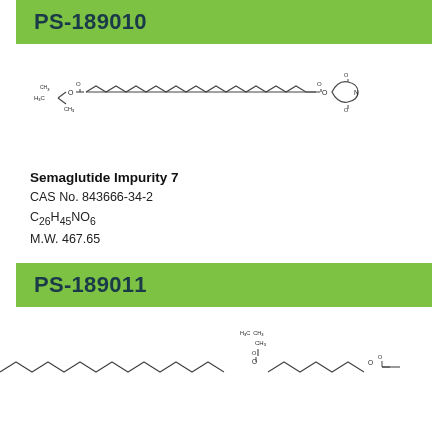PS-189010
[Figure (engineering-diagram): Chemical structure of Semaglutide Impurity 7: a long-chain fatty acid tert-butyl ester connected via a chain to a succinimidyl ester (NHS ester) group]
Semaglutide Impurity 7
CAS No. 843666-34-2
C26H45NO6
M.W. 467.65
PS-189011
[Figure (engineering-diagram): Chemical structure of another Semaglutide impurity showing a long fatty acid chain with a tert-butyl ester group and a succinimidyl ester group at the other end, partially visible]